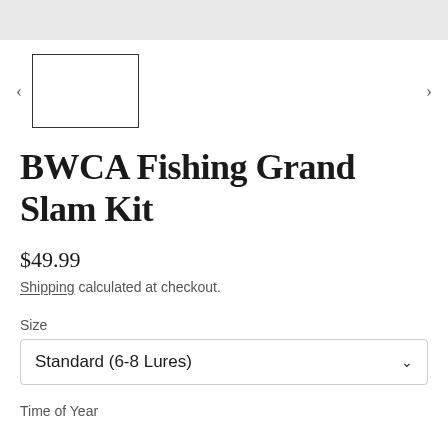[Figure (screenshot): Gray top bar area of a product page]
[Figure (screenshot): Product thumbnail image placeholder rectangle with left and right navigation arrows]
BWCA Fishing Grand Slam Kit
$49.99
Shipping calculated at checkout.
Size
Standard (6-8 Lures)
Time of Year